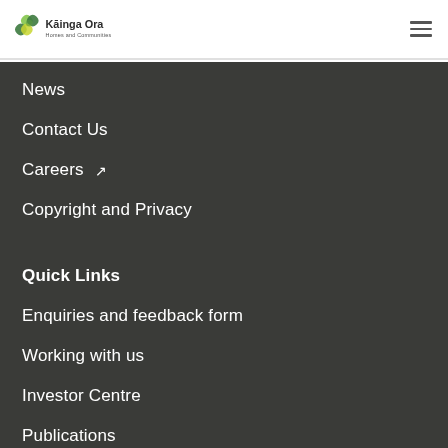[Figure (logo): Kāinga Ora Homes and Communities logo with green interlocking shapes]
News
Contact Us
Careers ↗
Copyright and Privacy
Quick Links
Enquiries and feedback form
Working with us
Investor Centre
Publications
Make an OIA request